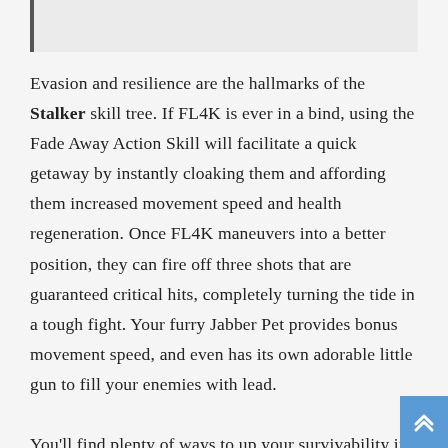Evasion and resilience are the hallmarks of the Stalker skill tree. If FL4K is ever in a bind, using the Fade Away Action Skill will facilitate a quick getaway by instantly cloaking them and affording them increased movement speed and health regeneration. Once FL4K maneuvers into a better position, they can fire off three shots that are guaranteed critical hits, completely turning the tide in a tough fight. Your furry Jabber Pet provides bonus movement speed, and even has its own adorable little gun to fill your enemies with lead.

You'll find plenty of ways to up your survivability in the Stalker skill tree; maybe